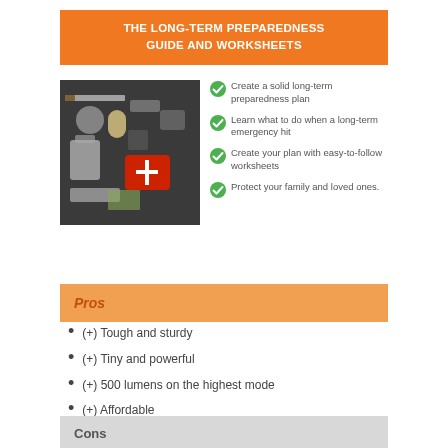THE LONG-TERM PREPAREDNESS GUIDE AND WORKSHEETS
[Figure (photo): Emergency preparedness kit with first aid pouch, tools, and supplies spread out on a dark surface]
Create a solid long-term preparedness plan
Learn what to do when a long-term emergency hit
Create your plan with easy-to-follow worksheets
Protect your family and loved ones.
DOWNLOAD HERE
Pros
(+) Tough and sturdy
(+) Tiny and powerful
(+) 500 lumens on the highest mode
(+) Affordable
Cons